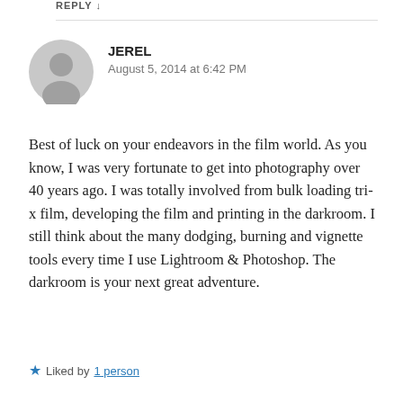REPLY ↓
[Figure (illustration): Gray circular avatar/user icon placeholder]
JEREL
August 5, 2014 at 6:42 PM
Best of luck on your endeavors in the film world. As you know, I was very fortunate to get into photography over 40 years ago. I was totally involved from bulk loading tri-x film, developing the film and printing in the darkroom. I still think about the many dodging, burning and vignette tools every time I use Lightroom & Photoshop. The darkroom is your next great adventure.
★ Liked by 1 person